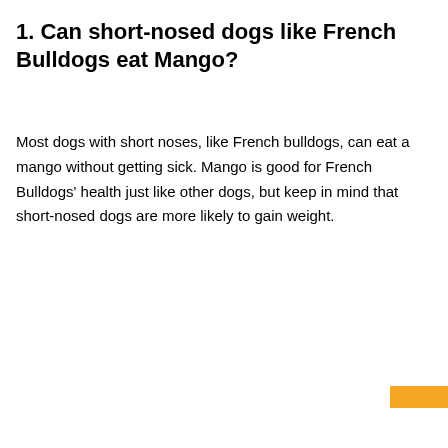1. Can short-nosed dogs like French Bulldogs eat Mango?
Most dogs with short noses, like French bulldogs, can eat a mango without getting sick. Mango is good for French Bulldogs' health just like other dogs, but keep in mind that short-nosed dogs are more likely to gain weight.